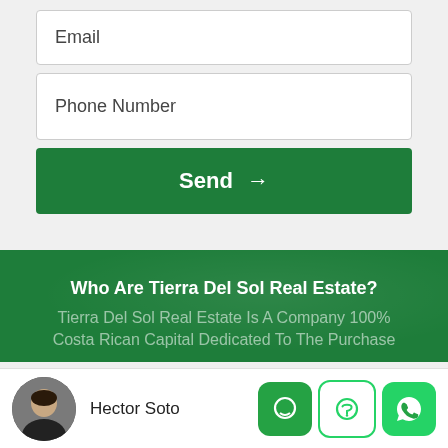Email
Phone Number
Send →
Who Are Tierra Del Sol Real Estate?
Tierra Del Sol Real Estate Is A Company 100% Costa Rican Capital Dedicated To The Purchase
[Figure (photo): Circular avatar photo of Hector Soto, a man in dark clothing]
Hector Soto